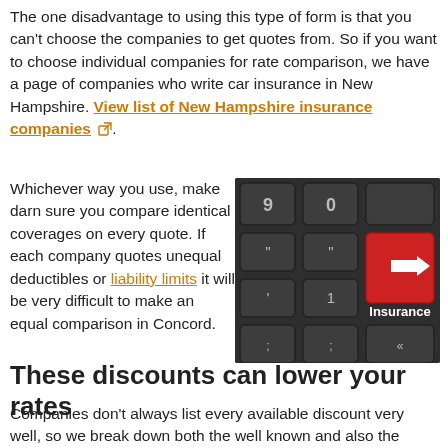The one disadvantage to using this type of form is that you can't choose the companies to get quotes from. So if you want to choose individual companies for rate comparison, we have a page of companies who write car insurance in New Hampshire. View list of New Hampshire insurance companies [external link].
Whichever way you use, make darn sure you compare identical coverages on every quote. If each company quotes unequal deductibles or liability limits it will be very difficult to make an equal comparison in Concord.
[Figure (photo): Close-up photograph of a dark computer keyboard with a red Enter key labeled 'Insurance' and a left-arrow symbol on it.]
These discounts can lower your rates
Companies don't always list every available discount very well, so we break down both the well known and also the lessor known ways to save on car insurance. If you don't get...